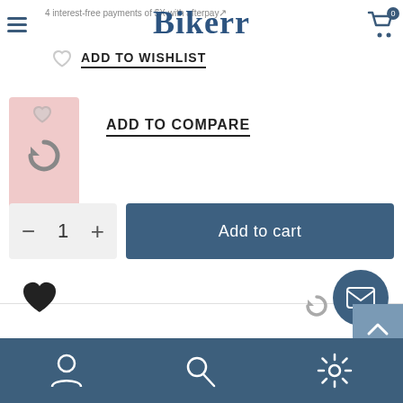Bikerr - 4 interest-free payments of $X with afterpay
ADD TO WISHLIST
[Figure (screenshot): Pink thumbnail product image box with refresh/compare icon]
ADD TO COMPARE
Add to cart
[Figure (other): Heart icon (wishlist)]
[Figure (other): Email contact button (circular blue)]
Bottom navigation bar with account, search, and settings icons